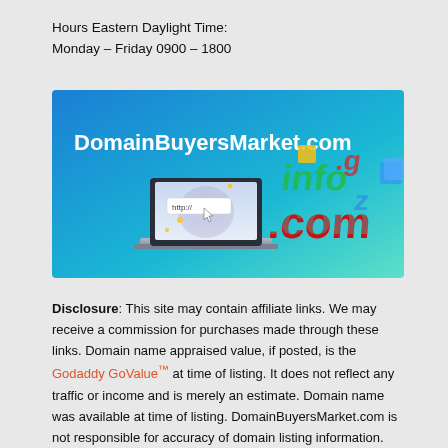Hours Eastern Daylight Time:
Monday – Friday 0900 – 1800
[Figure (illustration): DomainBuyersMarket.com banner: blue-to-cyan gradient background with white bold text 'DomainBuyersMarket.com', a laptop showing 'http://' in a browser bar with a cursor, and 3D colorful domain extension letters (.com, .info, .biz, .net etc.) on the right side.]
Disclosure: This site may contain affiliate links. We may receive a commission for purchases made through these links. Domain name appraised value, if posted, is the Godaddy GoValue™ at time of listing. It does not reflect any traffic or income and is merely an estimate. Domain name was available at time of listing. DomainBuyersMarket.com is not responsible for accuracy of domain listing information.